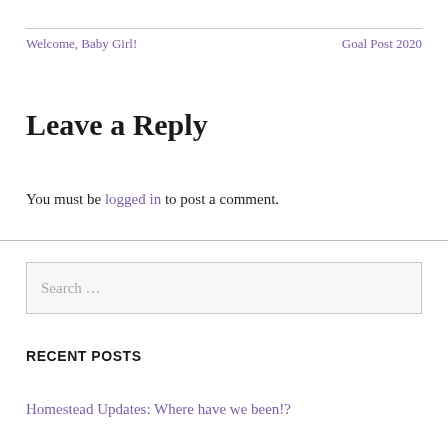Welcome, Baby Girl!    Goal Post 2020
Leave a Reply
You must be logged in to post a comment.
Search ...
RECENT POSTS
Homestead Updates: Where have we been!?